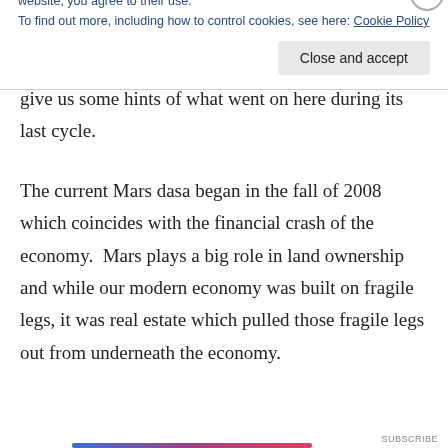current Mars dasa is the second time the United States has experienced its Mars dasa, and history can give us some hints of what went on here during its last cycle.
The current Mars dasa began in the fall of 2008 which coincides with the financial crash of the economy.  Mars plays a big role in land ownership and while our modern economy was built on fragile legs, it was real estate which pulled those fragile legs out from underneath the economy.
Privacy & Cookies: This site uses cookies. By continuing to use this website, you agree to their use.
To find out more, including how to control cookies, see here: Cookie Policy
Close and accept